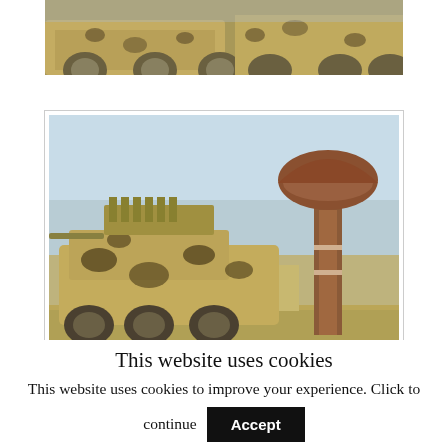[Figure (photo): Top portion of a camouflage-painted armored vehicle, cropped at the top of the page]
[Figure (photo): An armored vehicle with rocket launcher in desert camouflage paint, parked in front of a large brown water tower, after fighting]
An armored vehicle is seen after fighting between
This website uses cookies
This website uses cookies to improve your experience. Click to continue
Accept